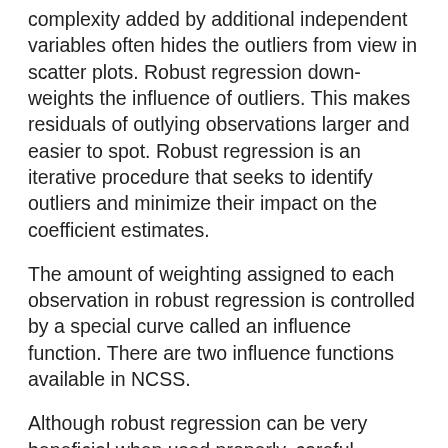complexity added by additional independent variables often hides the outliers from view in scatter plots. Robust regression down-weights the influence of outliers. This makes residuals of outlying observations larger and easier to spot. Robust regression is an iterative procedure that seeks to identify outliers and minimize their impact on the coefficient estimates.
The amount of weighting assigned to each observation in robust regression is controlled by a special curve called an influence function. There are two influence functions available in NCSS.
Although robust regression can be very beneficial when used properly, careful consideration should be given to the results. Essentially, robust regression conducts its own residual analysis and down-weights or completely removes various observations. You should study the weights it assigns to each observation, determine which observations have been largely eliminated, and decide if these observations should be